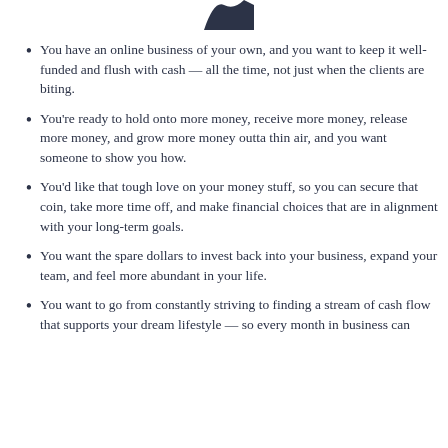[Figure (illustration): Partial decorative illustration at top of page, dark navy colored shape, partially cropped]
You have an online business of your own, and you want to keep it well-funded and flush with cash — all the time, not just when the clients are biting.
You're ready to hold onto more money, receive more money, release more money, and grow more money outta thin air, and you want someone to show you how.
You'd like that tough love on your money stuff, so you can secure that coin, take more time off, and make financial choices that are in alignment with your long-term goals.
You want the spare dollars to invest back into your business, expand your team, and feel more abundant in your life.
You want to go from constantly striving to finding a stream of cash flow that supports your dream lifestyle — so every month in business can